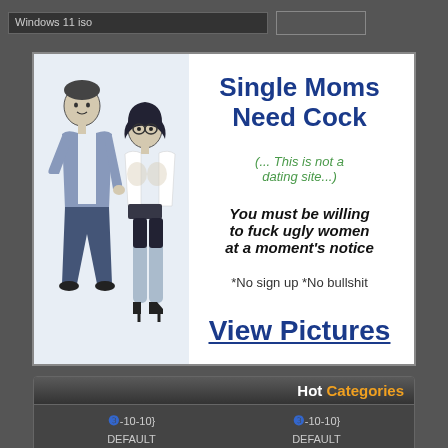Windows 11 iso
[Figure (illustration): Advertisement banner with cartoon illustration of a man and woman. Text reads: Single Moms Need Cock (... This is not a dating site...) You must be willing to fuck ugly women at a moment's notice *No sign up *No bullshit View Pictures]
Hot Categories
❸-10-10} DEFAULT {/RANDCONTEXT}
❸-10-10} DEFAULT {/RANDCONTEXT}
[Figure (photo): Partial photo thumbnails at bottom of page]